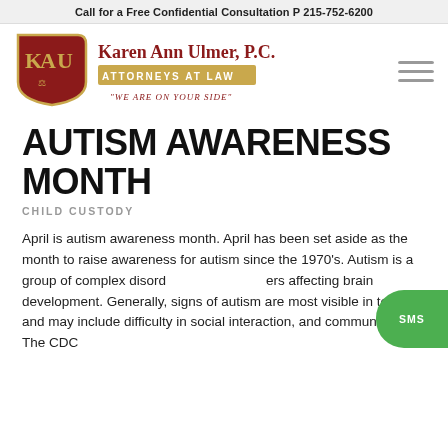Call for a Free Confidential Consultation P 215-752-6200
[Figure (logo): Karen Ann Ulmer, P.C. Attorneys at Law logo with KAU shield emblem and tagline 'WE ARE ON YOUR SIDE']
AUTISM AWARENESS MONTH
CHILD CUSTODY
April is autism awareness month. April has been set aside as the month to raise awareness for autism since the 1970's. Autism is a group of complex disorders affecting brain development. Generally, signs of autism are most visible in toddlers and may include difficulty in social interaction, and communication. The CDC